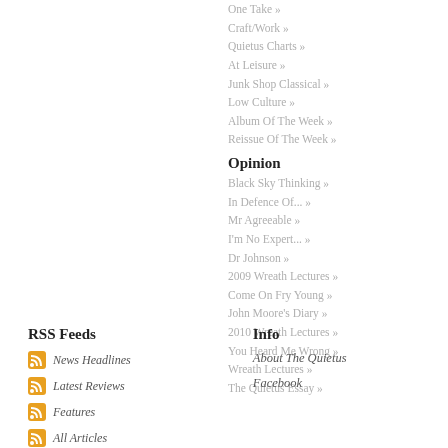One Take »
Craft/Work »
Quietus Charts »
At Leisure »
Junk Shop Classical »
Low Culture »
Album Of The Week »
Reissue Of The Week »
Opinion
Black Sky Thinking »
In Defence Of... »
Mr Agreeable »
I'm No Expert... »
Dr Johnson »
2009 Wreath Lectures »
Come On Fry Young »
John Moore's Diary »
2010 Wreath Lectures »
You Heard Me Wrong »
Wreath Lectures »
The Quietus Essay »
RSS Feeds
Info
News Headlines
About The Quietus
Latest Reviews
Facebook
Features
All Articles